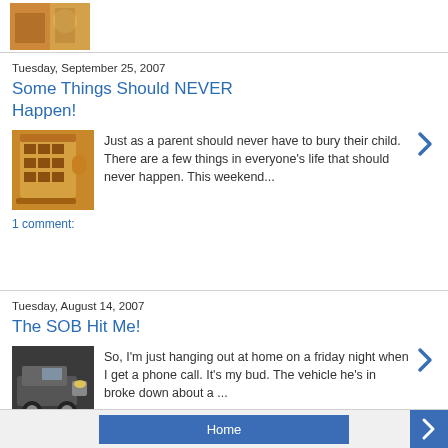[Figure (photo): Small thumbnail photo at top, appears to be a person and foliage]
Tuesday, September 25, 2007
Some Things Should NEVER Happen!
[Figure (photo): Thumbnail image of a decorative mug/trophy]
Just as a parent should never have to bury their child. There are a few things in everyone's life that should never happen. This weekend...
1 comment:
Tuesday, August 14, 2007
The SOB Hit Me!
[Figure (photo): Thumbnail image of a car/vehicle damage]
So, I'm just hanging out at home on a friday night when I get a phone call. It's my bud. The vehicle he's in broke down about a ...
Home